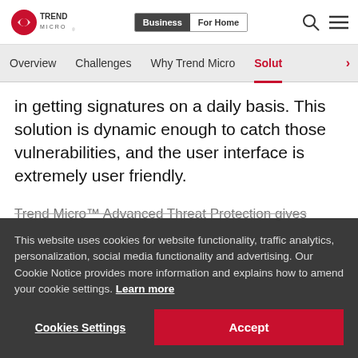Trend Micro — Business | For Home
Overview   Challenges   Why Trend Micro   Solut >
in getting signatures on a daily basis. This solution is dynamic enough to catch those vulnerabilities, and the user interface is extremely user friendly.
Trend Micro™ Advanced Threat Protection gives
This website uses cookies for website functionality, traffic analytics, personalization, social media functionality and advertising. Our Cookie Notice provides more information and explains how to amend your cookie settings. Learn more
"I believe TippingPoint is ... IPS solutions in the market today. It is both dynamic